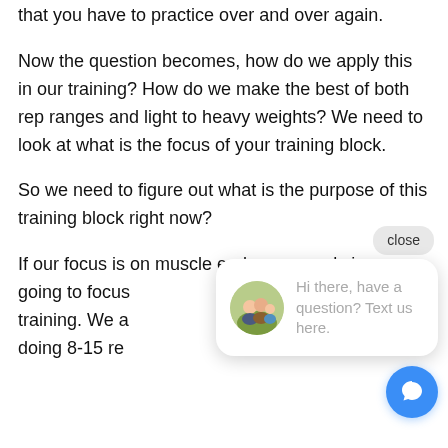that you have to practice over and over again.
Now the question becomes, how do we apply this in our training? How do we make the best of both rep ranges and light to heavy weights? We need to look at what is the focus of your training block.
So we need to figure out what is the purpose of this training block right now?
If our focus is on muscle endurance and size we going to focus training. We a doing 8-15 re
[Figure (screenshot): Chat widget overlay with 'close' button, avatar photo of people, and text 'Hi there, have a question? Text us here.' plus a blue circular chat icon button.]
If our focus is to get really strong, then our focus will shift to heavier weights. We will keep our reps between 1-6 per set for somewhere between 8-24 total reps for the session.